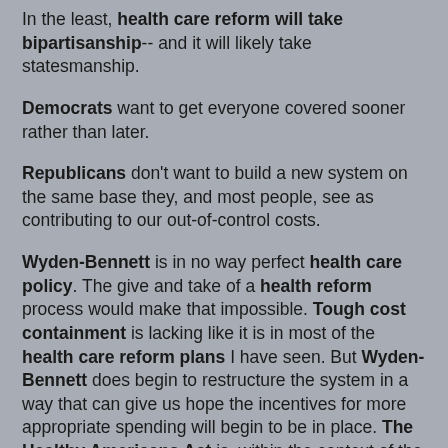In the least, health care reform will take bipartisanship-- and it will likely take statesmanship.
Democrats want to get everyone covered sooner rather than later.
Republicans don't want to build a new system on the same base they, and most people, see as contributing to our out-of-control costs.
Wyden-Bennett is in no way perfect health care policy. The give and take of a health reform process would make that impossible. Tough cost containment is lacking like it is in most of the health care reform plans I have seen. But Wyden-Bennett does begin to restructure the system in a way that can give us hope the incentives for more appropriate spending will begin to be in place. The Healthy Americans Act is, within the context of the political art of the doable and respect for what both sides are looking for, elegant policy if I have ever seen it.